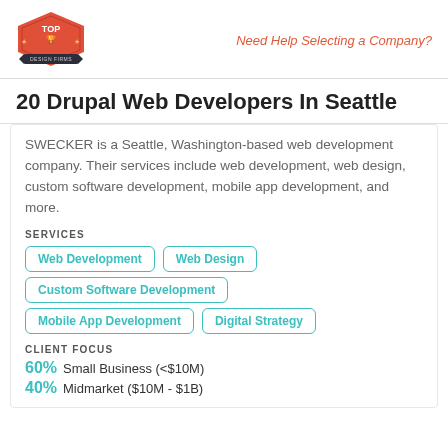Top Design Firms | Need Help Selecting a Company?
20 Drupal Web Developers In Seattle
SWECKER is a Seattle, Washington-based web development company. Their services include web development, web design, custom software development, mobile app development, and more.
SERVICES
Web Development
Web Design
Custom Software Development
Mobile App Development
Digital Strategy
CLIENT FOCUS
60% Small Business (<$10M)
40% Midmarket ($10M - $1B)